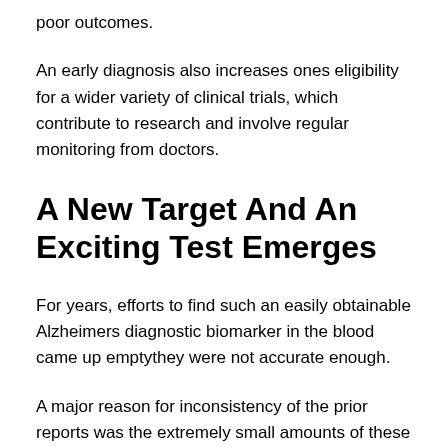poor outcomes.
An early diagnosis also increases ones eligibility for a wider variety of clinical trials, which contribute to research and involve regular monitoring from doctors.
A New Target And An Exciting Test Emerges
For years, efforts to find such an easily obtainable Alzheimers diagnostic biomarker in the blood came up emptythey were not accurate enough.
A major reason for inconsistency of the prior reports was the extremely small amounts of these protein fragments in the blood. The tests have to be sensitive enough to detect either amyloid or tau, and be accurate enough that the blood